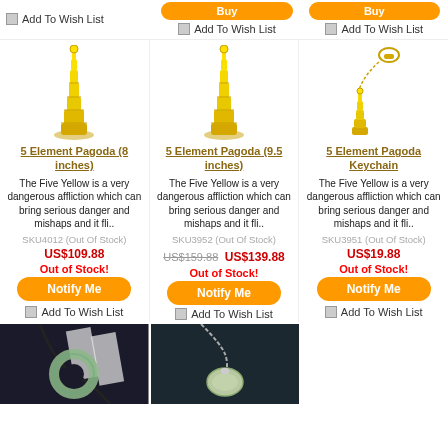[Figure (photo): Top wishlist row with Add To Wish List for three columns, with orange Buy/Notify buttons visible at the very top]
[Figure (photo): Gold 5 Element Pagoda 8 inches charm pendant on white background]
[Figure (photo): Gold 5 Element Pagoda 9.5 inches charm pendant on white background]
[Figure (photo): 5 Element Pagoda Keychain gold charm with lobster clasp on white background]
5 Element Pagoda (8 inches)
The Five Yellow is a very dangerous affliction which can bring serious danger and mishaps and it fli..
SKU4012 (Out Of Stock)
US$109.88
Out of Stock!
5 Element Pagoda (9.5 inches)
The Five Yellow is a very dangerous affliction which can bring serious danger and mishaps and it fli..
SKU3952 (Out Of Stock)
US$159.88 US$139.88
Out of Stock!
5 Element Pagoda Keychain
The Five Yellow is a very dangerous affliction which can bring serious danger and mishaps and it fli..
SKU3951 (Out Of Stock)
US$19.88
Out of Stock!
[Figure (photo): Jade donut pendant necklace on dark background]
[Figure (photo): Jade oval pendant on silver chain on dark background]